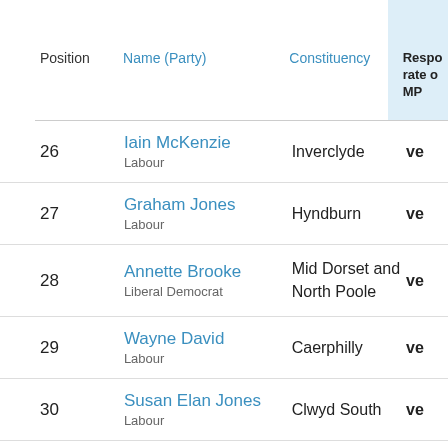| Position | Name (Party) | Constituency | Respo rate o MP |
| --- | --- | --- | --- |
| 26 | Iain McKenzie
Labour | Inverclyde | ve |
| 27 | Graham Jones
Labour | Hyndburn | ve |
| 28 | Annette Brooke
Liberal Democrat | Mid Dorset and North Poole | ve |
| 29 | Wayne David
Labour | Caerphilly | ve |
| 30 | Susan Elan Jones
Labour | Clwyd South | ve |
| 31 | Henry Smith
Conservative | Crawley | ve |